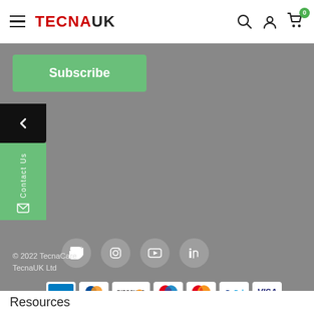TECNAUK - navigation header with hamburger menu, search, account, and cart (0 items)
[Figure (screenshot): Green Subscribe button on grey background]
[Figure (screenshot): Back arrow tab (black) and Contact Us tab (green) on left side]
[Figure (screenshot): Social media icons: Twitter, Instagram, YouTube, LinkedIn on grey background]
[Figure (screenshot): Payment icons: American Express, Diners Club, Discover, Maestro, Mastercard, PayPal, Visa]
© 2022 TecnaCare
TecnaUK Ltd
Resources